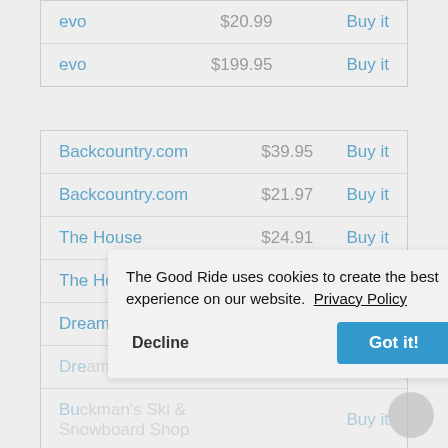| Store | Price | Action |
| --- | --- | --- |
| evo | $20.99 | Buy it |
| evo | $199.95 | Buy it |
| Store | Price | Action |
| --- | --- | --- |
| Backcountry.com | $39.95 | Buy it |
| Backcountry.com | $21.97 | Buy it |
| The House | $24.91 | Buy it |
| The House | $259.95 | Buy it |
| Dreamruns | $25.96 | Buy it |
| Dreamruns | $25.96 | Buy it |
| Buckman's Ski & Snowboard Shop |  | Buy it |
| Buckman's Ski & Snowboard Shop |  | Buy it |
The Good Ride uses cookies to create the best experience on our website. Privacy Policy
Decline | Got it!